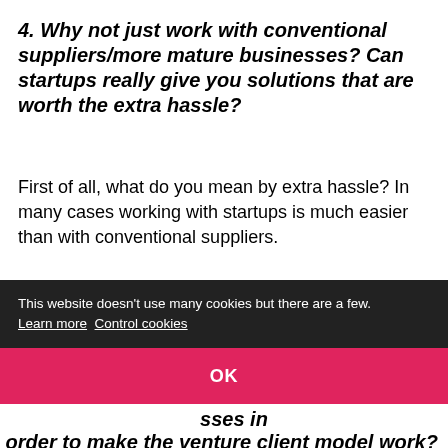4. Why not just work with conventional suppliers/more mature businesses? Can startups really give you solutions that are worth the extra hassle?
First of all, what do you mean by extra hassle? In many cases working with startups is much easier than with conventional suppliers.
The growing startup boom has led to an incredible selection and variety of amazing solutions. We want to be the early-adopter of these solutions and leverage the speed and agility, which is inherent to startups' DNA. On the extra hassle: most often, startups are very responsive and very flexible to cater to our specific needs — you
This website doesn't use many cookies but there are a few. Learn more  Control cookies
OK
order to make the venture client model work?